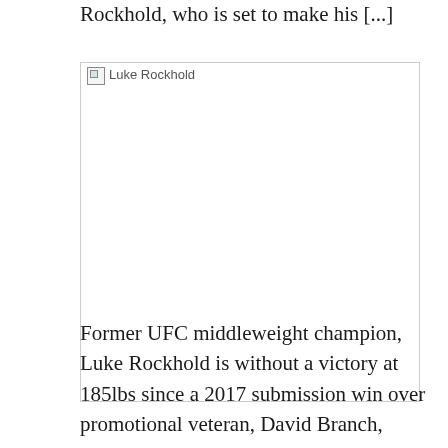Rockhold, who is set to make his [...]
[Figure (photo): Broken/missing image placeholder labeled 'Luke Rockhold']
Former UFC middleweight champion, Luke Rockhold is without a victory at 185lbs since a 2017 submission win over promotional veteran, David Branch, however, believes a UFC 278 win over Paulo Costa this weekend in Salt Lake City will punch his ticket to another title challenge in the division.